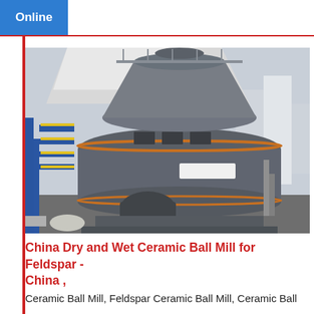Online
[Figure (photo): Industrial ceramic ball mill machine — a large grey circular grinding mill with motor, structural frame, and support gantry visible in an outdoor industrial setting. Blue steel framework and yellow safety railings visible on the left.]
China Dry and Wet Ceramic Ball Mill for Feldspar - China ,
Ceramic Ball Mill, Feldspar Ceramic Ball Mill, Ceramic Ball